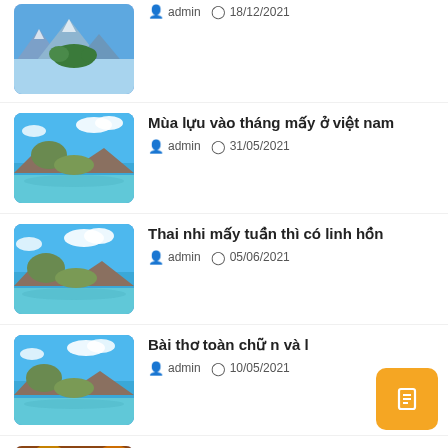admin 18/12/2021
Mùa lựu vào tháng mấy ở việt nam
admin 31/05/2021
Thai nhi mấy tuần thì có linh hồn
admin 05/06/2021
Bài thơ toàn chữ n và l
admin 10/05/2021
Mẫu sơ yếu lý lịch của người xin vào đảng